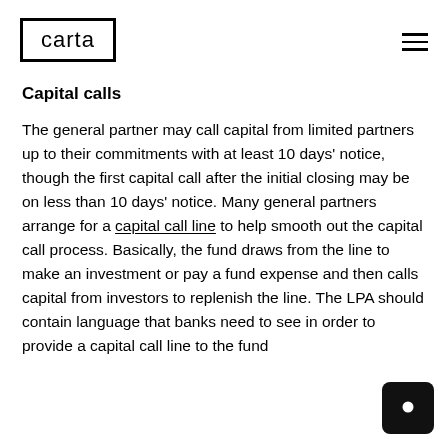carta
Capital calls
The general partner may call capital from limited partners up to their commitments with at least 10 days' notice, though the first capital call after the initial closing may be on less than 10 days' notice. Many general partners arrange for a capital call line to help smooth out the capital call process. Basically, the fund draws from the line to make an investment or pay a fund expense and then calls capital from investors to replenish the line. The LPA should contain language that banks need to see in order to provide a capital call line to the fund